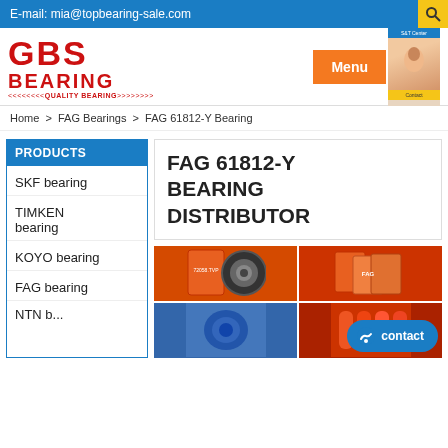E-mail: mia@topbearing-sale.com
[Figure (logo): GBS BEARING logo in red with quality bearing tagline]
Menu
Home > FAG Bearings > FAG 61812-Y Bearing
PRODUCTS
SKF bearing
TIMKEN bearing
KOYO bearing
FAG bearing
FAG 61812-Y BEARING DISTRIBUTOR
[Figure (photo): Grid of FAG bearing product photos showing packaged bearings and bearing components]